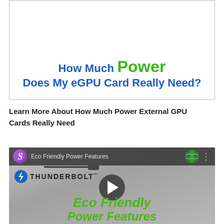[Figure (screenshot): Video thumbnail showing 'How Much Power Does My eGPU Card Really Need?' with blue and green text]
Learn More About How Much Power External GPU Cards Really Need
[Figure (screenshot): YouTube video thumbnail showing 'Eco Friendly Power Features' with Thunderbolt logo, purple avatar, play button, and green italic text on gray background]